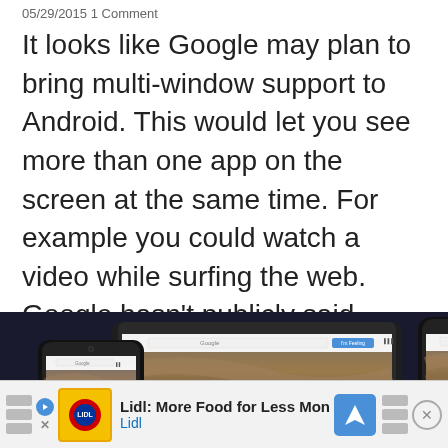05/29/2015 1 Comment
It looks like Google may plan to bring multi-window support to Android. This would let you see more than one app on the screen at the same time. For example you could watch a video while surfing the web. Google hasn't publicly said anything about the feature yet, but it turns out there's experimental support [...]
[Figure (photo): Three Android devices — a phone on the left, a tablet in the center, and a phone on the right — all showing the Android homescreen with a coastal aerial landscape wallpaper.]
Lidl: More Food for Less Money Lidl